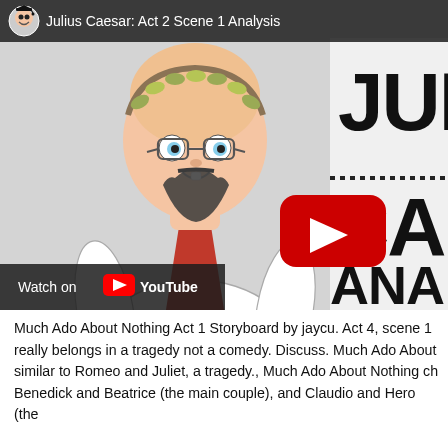[Figure (screenshot): YouTube video thumbnail/embed showing a cartoon character dressed as Julius Caesar (bald with laurel wreath, glasses, Roman toga with red sash) on the left half, and large bold text 'JUL', 'CAE', 'ANA' on the right half with a YouTube play button in the center. Top bar shows avatar icon and title 'Julius Caesar: Act 2 Scene 1 Analysis'. Bottom left has 'Watch on YouTube' bar.]
Much Ado About Nothing Act 1 Storyboard by jaycu. Act 4, scene 1 really belongs in a tragedy not a comedy. Discuss. Much Ado About similar to Romeo and Juliet, a tragedy., Much Ado About Nothing ch Benedick and Beatrice (the main couple), and Claudio and Hero (the